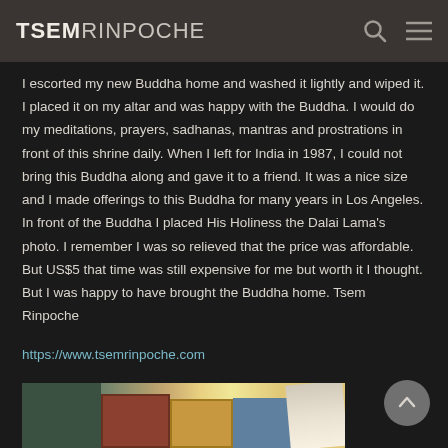TSEM RINPOCHE
I escorted my new Buddha home and washed it lightly and wiped it. I placed it on my altar and was happy with the Buddha. I would do my meditations, prayers, sadhanas, mantras and prostrations in front of this shrine daily. When I left for India in 1987, I could not bring this Buddha along and gave it to a friend. It was a nice size and I made offerings to this Buddha for many years in Los Angeles. In front of the Buddha I placed His Holiness the Dalai Lama's photo. I remember I was so relieved that the price was affordable. But US$5 that time was still expensive for me but worth it I thought. But I was happy to have brought the Buddha home. Tsem Rinpoche
https://www.tsemrinpoche.com
[Figure (photo): Photo showing a plant on the left beside what appears to be framed artworks or thangkas and a scroll or rolled object on the right, against a light-colored background.]